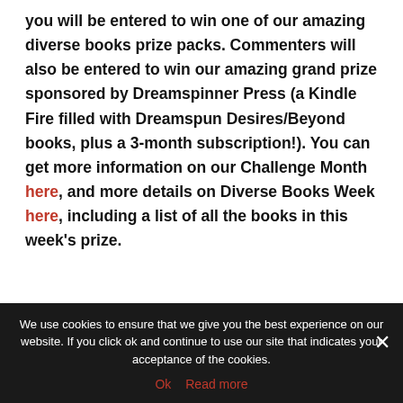you will be entered to win one of our amazing diverse books prize packs. Commenters will also be entered to win our amazing grand prize sponsored by Dreamspinner Press (a Kindle Fire filled with Dreamspun Desires/Beyond books, plus a 3-month subscription!). You can get more information on our Challenge Month here, and more details on Diverse Books Week here, including a list of all the books in this week's prize.
[Figure (illustration): Partial handwritten-style signature or logo reading 'Jay' with stylized leaf/plant illustration below in yellow-green]
We use cookies to ensure that we give you the best experience on our website. If you click ok and continue to use our site that indicates your acceptance of the cookies.
Ok  Read more